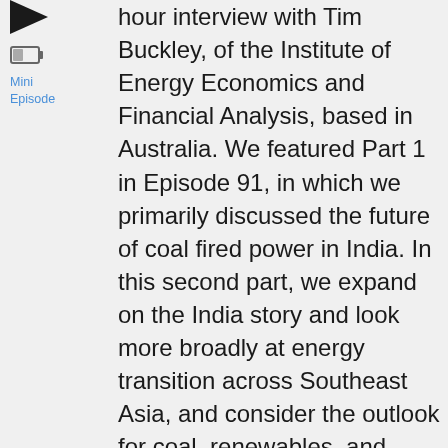[Figure (other): Play button triangle icon (black)]
[Figure (other): Mini episode battery/rectangle icon]
Mini Episode
hour interview with Tim Buckley, of the Institute of Energy Economics and Financial Analysis, based in Australia. We featured Part 1 in Episode 91, in which we primarily discussed the future of coal fired power in India. In this second part, we expand on the India story and look more broadly at energy transition across Southeast Asia, and consider the outlook for coal, renewables, and nuclear power in China, Japan, Bangladesh, Pakistan, and Malaysia, among others. As he did in Part 1, Tim shares with us in this episode a fascinating set of data on the future of energy in Southeast Asia that